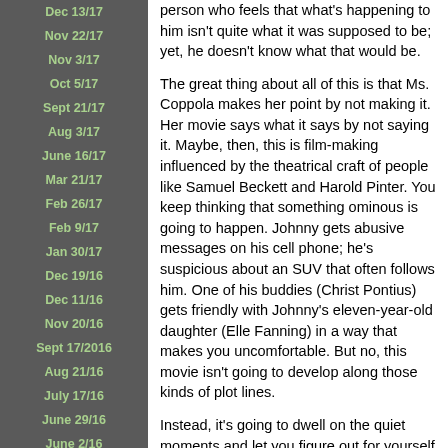Dec 13/17
Nov 22/17
Nov 3/17
Oct 5/17
Sept 21/17
Aug 3/17
June 16/17
Mar 21/17
Feb 26/17
Feb 9/17
Jan 30/17
Dec 19/16
Dec 11/16
Nov 20/16
Sept 17/2016
Aug 21/16
July 17/16
June 29/16
June 2/16
person who feels that what's happening to him isn't quite what it was supposed to be; yet, he doesn't know what that would be.

The great thing about all of this is that Ms. Coppola makes her point by not making it. Her movie says what it says by not saying it. Maybe, then, this is film-making influenced by the theatrical craft of people like Samuel Beckett and Harold Pinter. You keep thinking that something ominous is going to happen. Johnny gets abusive messages on his cell phone; he's suspicious about an SUV that often follows him. One of his buddies (Christ Pontius) gets friendly with Johnny's eleven-year-old daughter (Elle Fanning) in a way that makes you uncomfortable. But no, this movie isn't going to develop along those kinds of plot lines.

Instead, it's going to dwell on the quiet moments and let you figure out for yourself what they mean. Like the time Johnny and his daughter sit in the lobby of his hotel and an old guy with a guitar (Romulo Laki) serenades them with a quaint, gentle version of "I Just Wanna Be Your Teddy Bear." Or another time in the hotel lobby when Johnny addresses the keyboard of the tinny old piano and plunks out a halting rendition of the aria from J.S. Bach's "The Goldberg Variations". One of the most striking shots shows Johnny sitting alone in a special